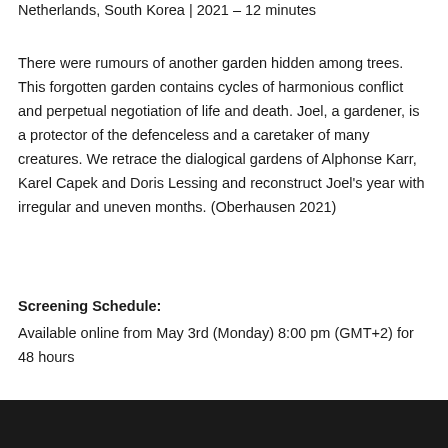Netherlands, South Korea | 2021 – 12 minutes
There were rumours of another garden hidden among trees. This forgotten garden contains cycles of harmonious conflict and perpetual negotiation of life and death. Joel, a gardener, is a protector of the defenceless and a caretaker of many creatures. We retrace the dialogical gardens of Alphonse Karr, Karel Capek and Doris Lessing and reconstruct Joel's year with irregular and uneven months. (Oberhausen 2021)
Screening Schedule:
Available online from May 3rd (Monday) 8:00 pm (GMT+2) for 48 hours
[Figure (photo): Dark photograph at the bottom of the page, appearing to show a scene with trees or a garden, very dark tones]